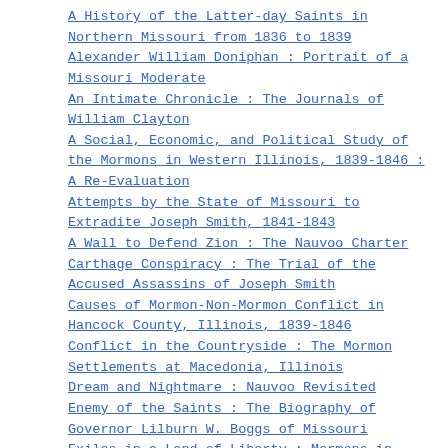A History of the Latter-day Saints in Northern Missouri from 1836 to 1839
Alexander William Doniphan : Portrait of a Missouri Moderate
An Intimate Chronicle : The Journals of William Clayton
A Social, Economic, and Political Study of the Mormons in Western Illinois, 1839-1846 : A Re-Evaluation
Attempts by the State of Missouri to Extradite Joseph Smith, 1841-1843
A Wall to Defend Zion : The Nauvoo Charter
Carthage Conspiracy : The Trial of the Accused Assassins of Joseph Smith
Causes of Mormon-Non-Mormon Conflict in Hancock County, Illinois, 1839-1846
Conflict in the Countryside : The Mormon Settlements at Macedonia, Illinois
Dream and Nightmare : Nauvoo Revisited
Enemy of the Saints : The Biography of Governor Lilburn W. Boggs of Missouri
Exiles in a Land of Liberty : Mormons in